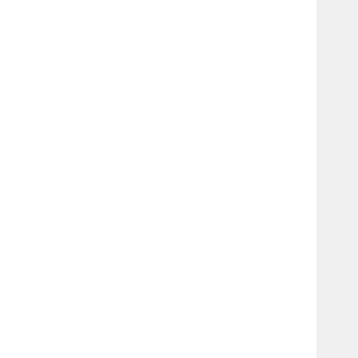par bot wo in the me pro and had tra hos to wo in hig lev of adr So the you Die wa em in